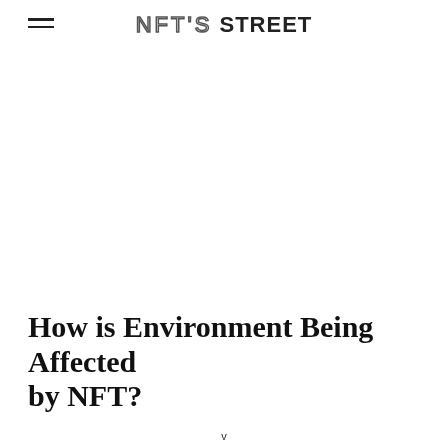NFT'S STREET
How is Environment Being Affected by NFT?